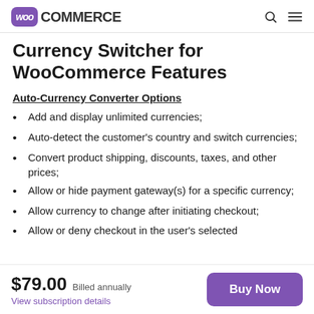WooCommerce
Currency Switcher for WooCommerce Features
Auto-Currency Converter Options
Add and display unlimited currencies;
Auto-detect the customer's country and switch currencies;
Convert product shipping, discounts, taxes, and other prices;
Allow or hide payment gateway(s) for a specific currency;
Allow currency to change after initiating checkout;
Allow or deny checkout in the user's selected
$79.00 Billed annually View subscription details Buy Now